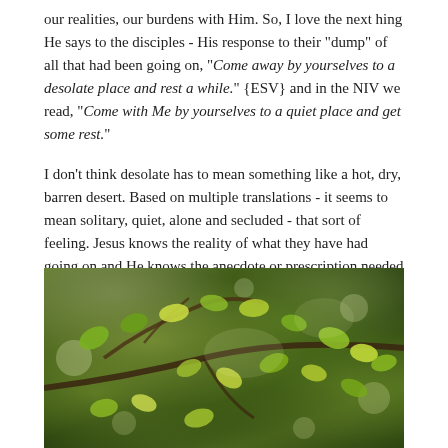our realities, our burdens with Him. So, I love the next hing He says to the disciples - His response to their "dump" of all that had been going on, "Come away by yourselves to a desolate place and rest a while." {ESV} and in the NIV we read, "Come with Me by yourselves to a quiet place and get some rest."
I don't think desolate has to mean something like a hot, dry, barren desert. Based on multiple translations - it seems to mean solitary, quiet, alone and secluded - that sort of feeling. Jesus knows the reality of what they have had going on and He knows the anecdote or prescription needed is this: to come away with Him, to pursue Jesus, to let the other voices fall away and be reminded who He is and who we are in Him.
[Figure (photo): Close-up photograph of tree branches with green and yellow-green leaves backlit by bright sunlight, creating a bokeh effect with light filtering through the foliage against a dark background.]